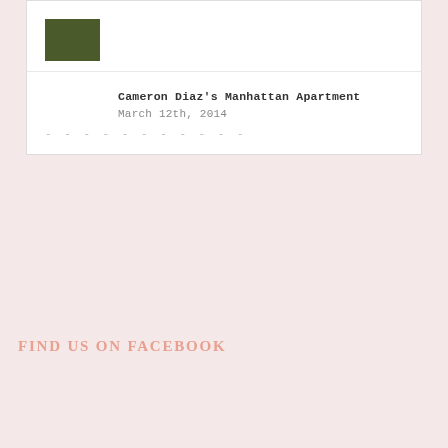[Figure (photo): Small thumbnail image of a dark green/olive colored scene, partially visible at top of card]
Cameron Diaz's Manhattan Apartment
March 12th, 2014
- - - - - - - - - - - -
FIND US ON FACEBOOK